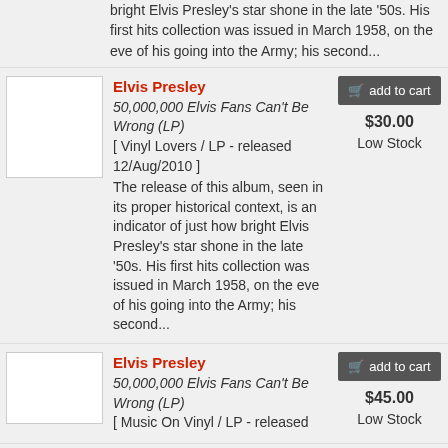bright Elvis Presley's star shone in the late '50s. His first hits collection was issued in March 1958, on the eve of his going into the Army; his second...
Elvis Presley
50,000,000 Elvis Fans Can't Be Wrong (LP)
[ Vinyl Lovers / LP - released 12/Aug/2010 ]
The release of this album, seen in its proper historical context, is an indicator of just how bright Elvis Presley's star shone in the late '50s. His first hits collection was issued in March 1958, on the eve of his going into the Army; his second...
add to cart
$30.00
Low Stock
Elvis Presley
50,000,000 Elvis Fans Can't Be Wrong (LP)
[ Music On Vinyl / LP - released
add to cart
$45.00
Low Stock